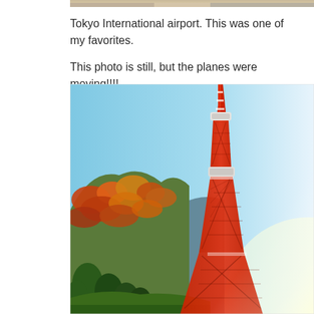[Figure (photo): Partial view of a photo at top — appears to be Tokyo International airport scene, cropped at top of page]
Tokyo International airport. This was one of my favorites.

This photo is still, but the planes were moving!!!!
[Figure (photo): Photo of Tokyo Tower, a red and white lattice tower, against a clear blue sky with autumn-colored hills and trees in the background]